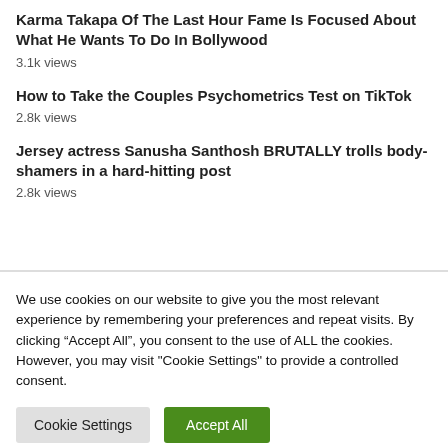Karma Takapa Of The Last Hour Fame Is Focused About What He Wants To Do In Bollywood
3.1k views
How to Take the Couples Psychometrics Test on TikTok
2.8k views
Jersey actress Sanusha Santhosh BRUTALLY trolls body-shamers in a hard-hitting post
2.8k views
We use cookies on our website to give you the most relevant experience by remembering your preferences and repeat visits. By clicking “Accept All”, you consent to the use of ALL the cookies. However, you may visit "Cookie Settings" to provide a controlled consent.